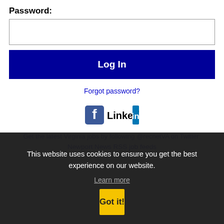Password:
[Figure (screenshot): Empty password input field]
Log In
Forgot password?
[Figure (logo): Facebook logo icon and LinkedIn logo]
Get the latest Virginia jobs by following @recnetVA on Twitter:
Newport News RSS job feeds
This website uses cookies to ensure you get the best experience on our website.
Learn more
Got it!